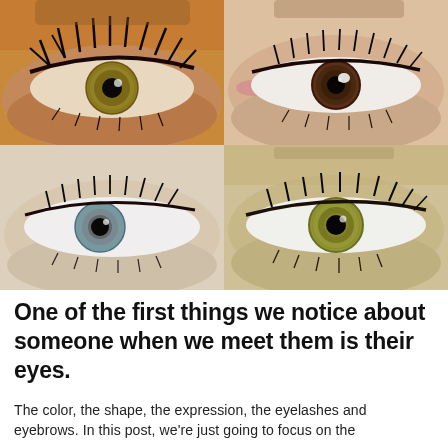[Figure (photo): A 2x2 collage of four close-up photographs of human eyes showing different eye colors: top-left is a green/hazel eye with dramatic black mascara and orange eyeshadow; top-right is a dark brown eye on pale skin; bottom-left is a blue-green hazel eye on light skin; bottom-right is a bright yellow-green eye with visible iris texture.]
One of the first things we notice about someone when we meet them is their eyes.
The color, the shape, the expression, the eyelashes and eyebrows. In this post, we're just going to focus on the